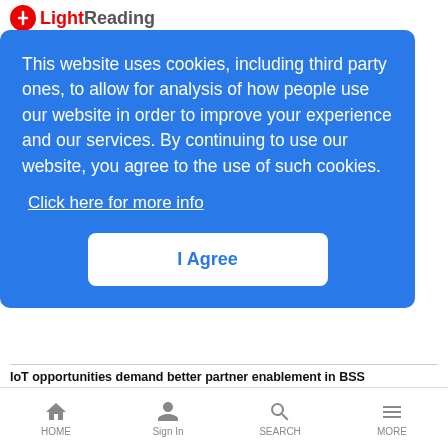LightReading
This website uses cookies, including third party ones, to allow for analysis of how people use our website in order to improve your experience and our services. By continuing to use our website, you agree to the use of such cookies.
Click here for more info
I Agree
IoT opportunities demand better partner enablement in BSS
September 8, 2022
Unified orchestration and assurance power intent-driven networking in the 5G-era
September 8, 2022
Setting up for success with BEAD funding
HOME  Sign In  SEARCH  MORE